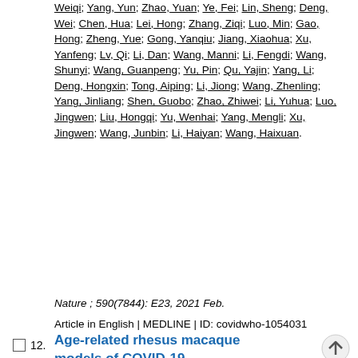Weiqi; Yang, Yun; Zhao, Yuan; Ye, Fei; Lin, Sheng; Deng, Wei; Chen, Hua; Lei, Hong; Zhang, Ziqi; Luo, Min; Gao, Hong; Zheng, Yue; Gong, Yanqiu; Jiang, Xiaohua; Xu, Yanfeng; Lv, Qi; Li, Dan; Wang, Manni; Li, Fengdi; Wang, Shunyi; Wang, Guanpeng; Yu, Pin; Qu, Yajin; Yang, Li; Deng, Hongxin; Tong, Aiping; Li, Jiong; Wang, Zhenling; Yang, Jinliang; Shen, Guobo; Zhao, Zhiwei; Li, Yuhua; Luo, Jingwen; Liu, Hongqi; Yu, Wenhai; Yang, Mengli; Xu, Jingwen; Wang, Junbin; Li, Haiyan; Wang, Haixuan.
Nature ; 590(7844): E23, 2021 Feb.
Article in English | MEDLINE | ID: covidwho-1054031
12. Age-related rhesus macaque models of COVID-19